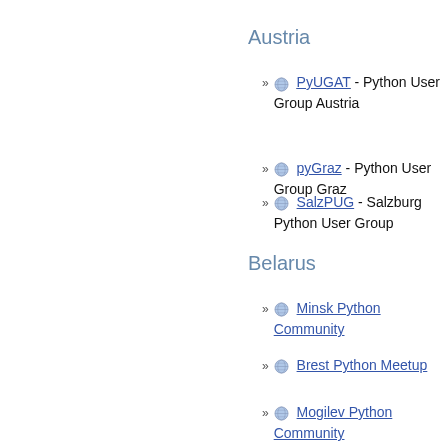Austria
PyUGAT - Python User Group Austria
pyGraz - Python User Group Graz
SalzPUG - Salzburg Python User Group
Belarus
Minsk Python Community
Brest Python Meetup
Mogilev Python Community